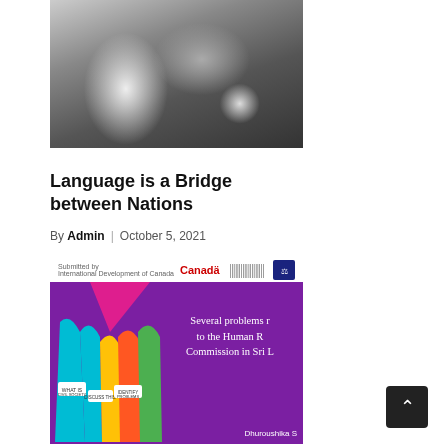[Figure (photo): Grayscale photo of people at what appears to be a memorial or protest, with flowers visible]
Language is a Bridge between Nations
By Admin | October 5, 2021
[Figure (photo): Colorful illustration on purple background showing raised hands holding signs, with Canada logo and text reading 'Several problems related to the Human Rights Commission in Sri Lanka']